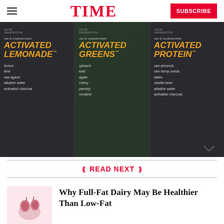TIME | SUBSCRIBE
[Figure (photo): Three dark bottles of Juice Generation products: Activated Lemonade, Activated Greens, and Activated Protein, each with ingredient lists on the label.]
READ NEXT
Why Full-Fat Dairy May Be Healthier Than Low-Fat